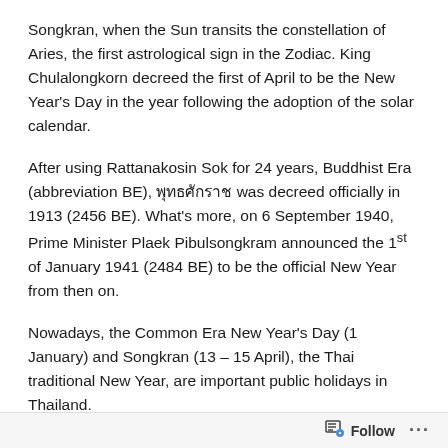Songkran, when the Sun transits the constellation of Aries, the first astrological sign in the Zodiac. King Chulalongkorn decreed the first of April to be the New Year's Day in the year following the adoption of the solar calendar.
After using Rattanakosin Sok for 24 years, Buddhist Era (abbreviation BE), พุทธศักราช was decreed officially in 1913 (2456 BE). What's more, on 6 September 1940, Prime Minister Plaek Pibulsongkram announced the 1st of January 1941 (2484 BE) to be the official New Year from then on.
Nowadays, the Common Era New Year's Day (1 January) and Songkran (13 – 15 April), the Thai traditional New Year, are important public holidays in Thailand.
Follow ···